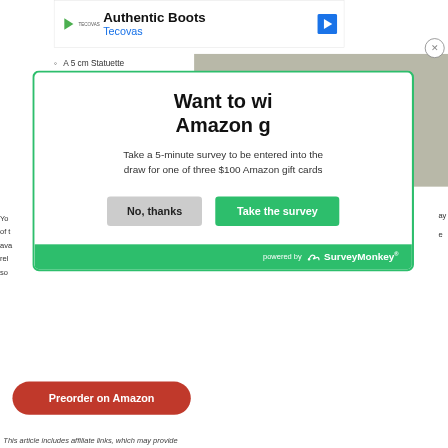[Figure (screenshot): Ad banner for Tecovas Authentic Boots with logo and navigation icon]
A 5 cm Statuette
[Figure (screenshot): Soulframe video thumbnail with play button overlay]
[Figure (screenshot): Close button (X in circle) in top right corner]
[Figure (screenshot): Survey modal popup with green border asking users to take a 5-minute survey to win Amazon gift cards, with No thanks and Take the survey buttons, powered by SurveyMonkey]
Want to win Amazon g
Take a 5-minute survey to be entered into the draw for one of three $100 Amazon gift cards
No, thanks
Take the survey
powered by SurveyMonkey
You ... ay of t ... ava ... rel ... e so...
[Figure (screenshot): Red Preorder on Amazon button]
Preorder on Amazon
This article includes affiliate links, which may provide